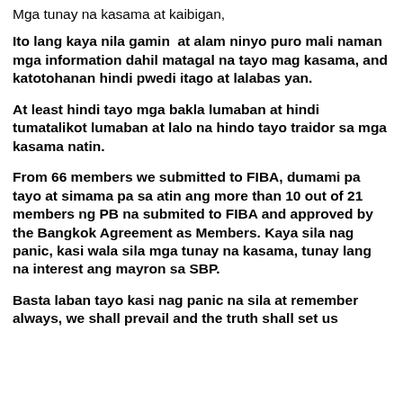Mga tunay na kasama at kaibigan,
Ito lang kaya nila gamin  at alam ninyo puro mali naman mga information dahil matagal na tayo mag kasama, and katotohanan hindi pwedi itago at lalabas yan.
At least hindi tayo mga bakla lumaban at hindi tumatalikot lumaban at lalo na hindo tayo traidor sa mga kasama natin.
From 66 members we submitted to FIBA, dumami pa tayo at simama pa sa atin ang more than 10 out of 21 members ng PB na submited to FIBA and approved by the Bangkok Agreement as Members. Kaya sila nag panic, kasi wala sila mga tunay na kasama, tunay lang na interest ang mayron sa SBP.
Basta laban tayo kasi nag panic na sila at remember always, we shall prevail and the truth shall set us